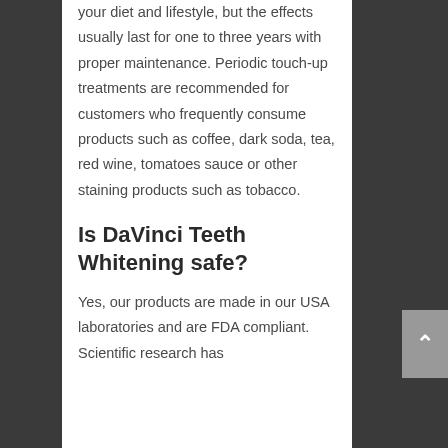your diet and lifestyle, but the effects usually last for one to three years with proper maintenance. Periodic touch-up treatments are recommended for customers who frequently consume products such as coffee, dark soda, tea, red wine, tomatoes sauce or other staining products such as tobacco.
Is DaVinci Teeth Whitening safe?
Yes, our products are made in our USA laboratories and are FDA compliant. Scientific research has